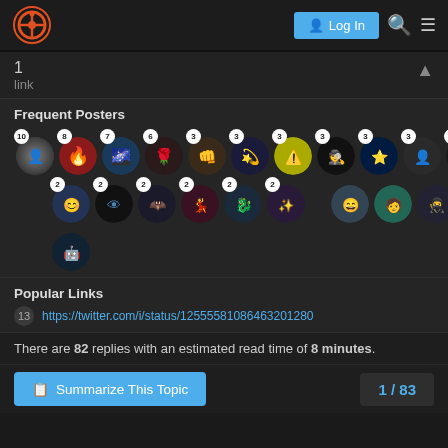Gears of War Forum — Log In
1
link
Frequent Posters
[Figure (other): Grid of circular user avatar images with post count badges. Row 1: 10, 8, 7, 6, 3, 3, 3, 3, 3, 3, 2. Row 2: 2, 2, 2, 2, 2, 2, 2 (then 4 avatars without visible badges). Row 3: 1 avatar.]
Popular Links
13  https://twitter.com/i/status/12555581086463201280
There are 82 replies with an estimated read time of 8 minutes.
Summarize This Topic
1 / 83